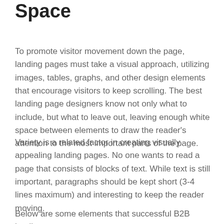Space
To promote visitor movement down the page, landing pages must take a visual approach, utilizing images, tables, graphs, and other design elements that encourage visitors to keep scrolling. The best landing page designers know not only what to include, but what to leave out, leaving enough white space between elements to draw the reader's attention to the most important parts of the page.
Variety is a related factor in creating visually appealing landing pages. No one wants to read a page that consists of blocks of text. While text is still important, paragraphs should be kept short (3-4 lines maximum) and interesting to keep the reader moving.
Below are some elements that successful B2B landing